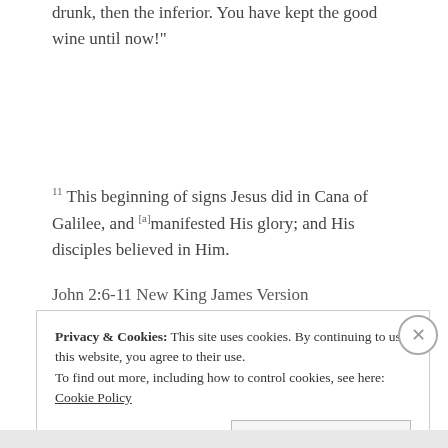drunk, then the inferior. You have kept the good wine until now!"
11 This beginning of signs Jesus did in Cana of Galilee, and [a]manifested His glory; and His disciples believed in Him.
John 2:6-11 New King James Version
Privacy & Cookies: This site uses cookies. By continuing to use this website, you agree to their use. To find out more, including how to control cookies, see here: Cookie Policy